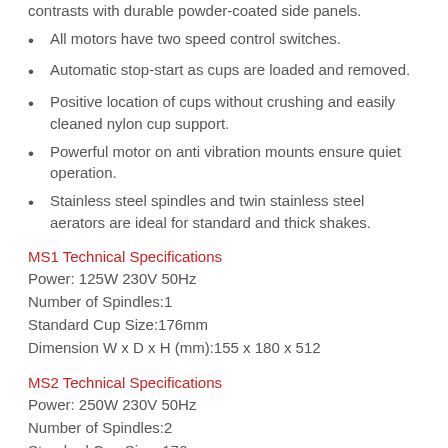contrasts with durable powder-coated side panels.
All motors have two speed control switches.
Automatic stop-start as cups are loaded and removed.
Positive location of cups without crushing and easily cleaned nylon cup support.
Powerful motor on anti vibration mounts ensure quiet operation.
Stainless steel spindles and twin stainless steel aerators are ideal for standard and thick shakes.
MS1 Technical Specifications
Power: 125W 230V 50Hz
Number of Spindles:1
Standard Cup Size:176mm
Dimension W x D x H (mm):155 x 180 x 512
MS2 Technical Specifications
Power: 250W 230V 50Hz
Number of Spindles:2
Standard Cup Size: 176mm